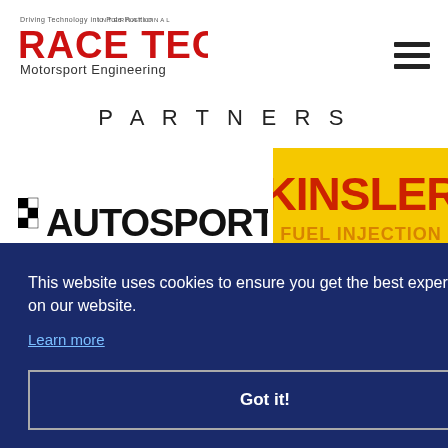[Figure (logo): Race Tech International Motorsport Engineering logo — red bold text 'RACE TECH' with 'INTERNATIONAL' above and 'Motorsport Engineering' below, plus tagline 'Driving Technology into Pole Position']
[Figure (other): Hamburger menu icon — three horizontal black bars]
PARTNERS
[Figure (logo): Autosport logo — checkered flag icon followed by 'AUTOSPORT' in bold black text]
[Figure (logo): Kinsler Fuel Injection logo — yellow background with 'KINSLER' in bold red/orange gradient letters, 'FUEL INJECTION' and '.com' text below]
This website uses cookies to ensure you get the best experience on our website.
Learn more
Got it!